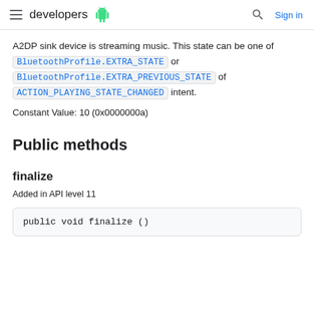developers
A2DP sink device is streaming music. This state can be one of BluetoothProfile.EXTRA_STATE or BluetoothProfile.EXTRA_PREVIOUS_STATE of ACTION_PLAYING_STATE_CHANGED intent.
Constant Value: 10 (0x0000000a)
Public methods
finalize
Added in API level 11